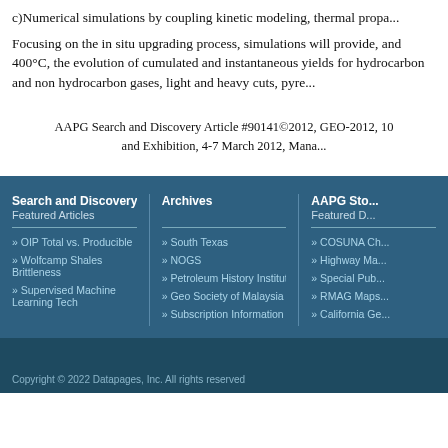c)Numerical simulations by coupling kinetic modeling, thermal propa...
Focusing on the in situ upgrading process, simulations will provide, and 400°C, the evolution of cumulated and instantaneous yields for hydrocarbon and non hydrocarbon gases, light and heavy cuts, pyre...
AAPG Search and Discovery Article #90141©2012, GEO-2012, 10 and Exhibition, 4-7 March 2012, Mana...
» OIP Total vs. Producible
» Wolfcamp Shales Brittleness
» Supervised Machine Learning Tech
» South Texas
» NOGS
» Petroleum History Institute
» Geo Society of Malaysia
» Subscription Information
» COSUNA Ch...
» Highway Ma...
» Special Pub...
» RMAG Maps...
» California Ge...
Copyright © 2022 Datapages, Inc. All rights reserved